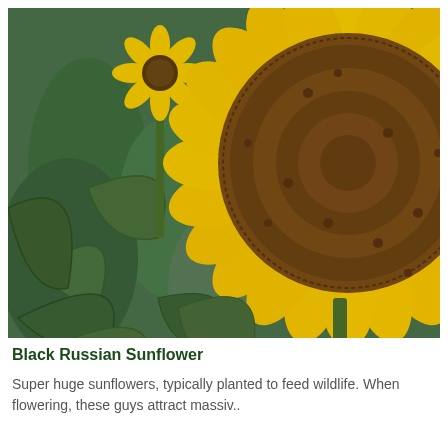[Figure (photo): Close-up photograph of sunflowers in a field. A large sunflower with yellow petals and a brown seed head dominates the right side, with another sunflower and green leafy stalks visible in the background.]
Black Russian Sunflower
Super huge sunflowers, typically planted to feed wildlife. When flowering, these guys attract massiv..